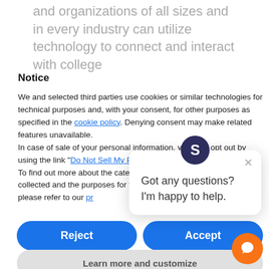and organizations of all sizes and in every industry can utilize technology to connect and interact with college
Notice
We and selected third parties use cookies or similar technologies for technical purposes and, with your consent, for other purposes as specified in the cookie policy. Denying consent may make related features unavailable.
In case of sale of your personal information, you may opt out by using the link "Do Not Sell My Personal Information".
To find out more about the categories of personal information collected and the purposes for which such information will be used, please refer to our pr...
[Figure (screenshot): Chat popup overlay: avatar with letter S on dark background, close button X, message text 'Got any questions? I'm happy to help.']
Reject
Accept
Learn more and customize